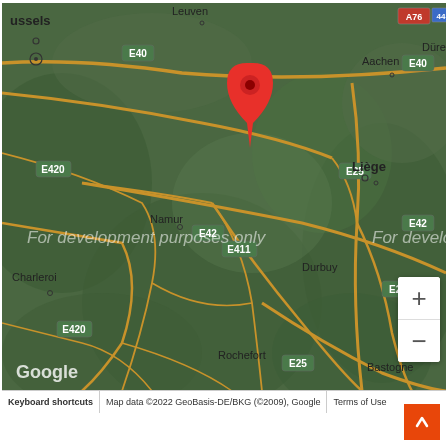[Figure (map): Google Maps screenshot showing Belgium and surrounding regions. A red location pin is placed near Liège, Belgium. Cities visible include Brussels, Leuven, Maastricht, Aachen, Düren, Namur, Charleroi, Durbuy, Rochefort, Bastogne, Bouillon, Sedan, Arlon, Luxembourg, Bitburg, and Parc naturel régional des Ardennes. Roads E40, E42, E25, E411, E420 are labeled. Watermark text reads 'For development purposes only'. Zoom controls (+/-) appear in lower right.]
Keyboard shortcuts | Map data ©2022 GeoBasis-DE/BKG (©2009), Google | Terms of Use